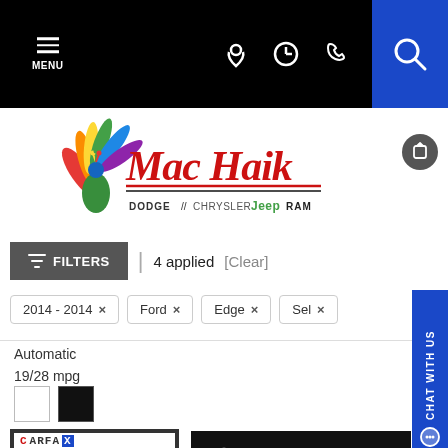MENU | navigation icons | search
[Figure (logo): Mac Haik Dodge Chrysler Jeep RAM dealership logo with colorful peacock icon]
FILTERS | 4 applied [Clear]
2014 - 2014 × Ford × Edge × Sel ×
Automatic
19/28 mpg
[Figure (other): White and black color swatches]
[Figure (other): CARFAX 1 Owner Good Value badge and Certified Pre-owned Chrysler Dodge Jeep Ram Fiat badge]
[Figure (other): Car silhouette icon]
inventory